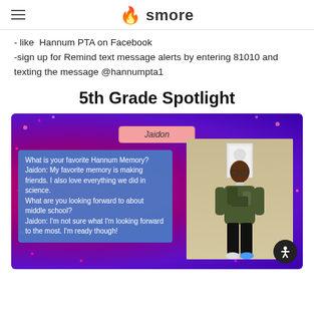smore
- like  Hannum PTA on Facebook
-sign up for Remind text message alerts by entering 81010 and texting the message @hannumpta1
5th Grade Spotlight
[Figure (photo): 5th Grade Spotlight card for a student named Jaidon on a purple/pink sparkle background. A blue text box shows Q&A: What is your favorite Hannum Memory? Jaidon: My favorite memory is making friends. I also love everything we did in science. What are you looking forward to about middle school? Jaidon: I'm not sure what I'm looking forward to the most. I'm ready though! A photo of Jaidon standing against a wall in a camo hoodie is shown on the right.]